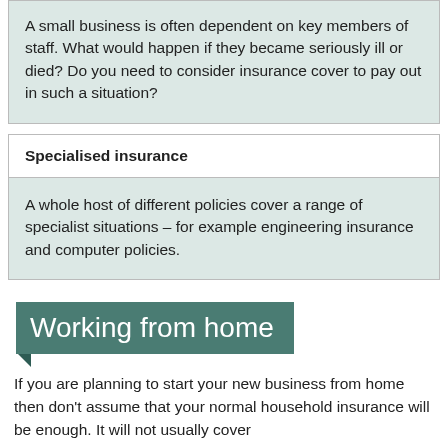A small business is often dependent on key members of staff. What would happen if they became seriously ill or died? Do you need to consider insurance cover to pay out in such a situation?
Specialised insurance
A whole host of different policies cover a range of specialist situations – for example engineering insurance and computer policies.
Working from home
If you are planning to start your new business from home then don't assume that your normal household insurance will be enough. It will not usually cover